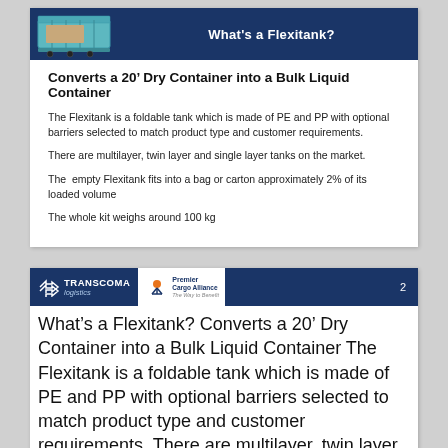What's a Flexitank?
Converts a 20’ Dry Container into a Bulk Liquid Container
The Flexitank is a foldable tank which is made of PE and PP with optional barriers selected to match product type and customer requirements.
There are multilayer, twin layer and single layer tanks on the market.
The  empty Flexitank fits into a bag or carton approximately 2% of its loaded volume
The whole kit weighs around 100 kg
TRANSCOMA logistics | Premier Cargo Alliance | 2
What’s a Flexitank? Converts a 20’ Dry Container into a Bulk Liquid Container The Flexitank is a foldable tank which is made of PE and PP with optional barriers selected to match product type and customer requirements. There are multilayer, twin layer and single layer tanks on the market. The empty Flexitank fits into